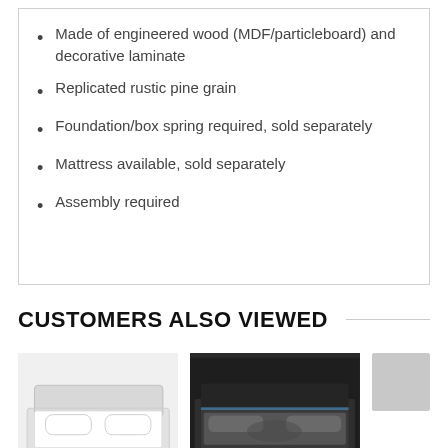Made of engineered wood (MDF/particleboard) and decorative laminate
Replicated rustic pine grain
Foundation/box spring required, sold separately
Mattress available, sold separately
Assembly required
CUSTOMERS ALSO VIEWED
[Figure (photo): White upholstered bed frame product photo]
[Figure (photo): Dark bed frame with LED lighting product photo]
[Figure (photo): Small gray square placeholder image]